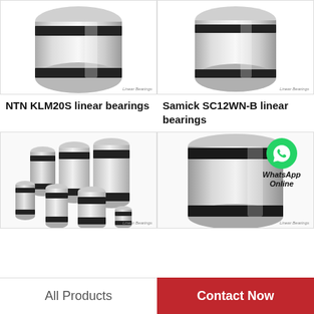[Figure (photo): NTN KLM20S linear bearing - cylindrical steel bearing with black rubber seals on both ends]
NTN KLM20S linear bearings
[Figure (photo): Samick SC12WN-B linear bearing - cylindrical steel bearing with black rubber seal]
Samick SC12WN-B linear bearings
[Figure (photo): Group of multiple linear bearings of various sizes arranged together]
[Figure (photo): Large cylindrical linear bearing with WhatsApp Online contact overlay and green WhatsApp logo]
All Products
Contact Now